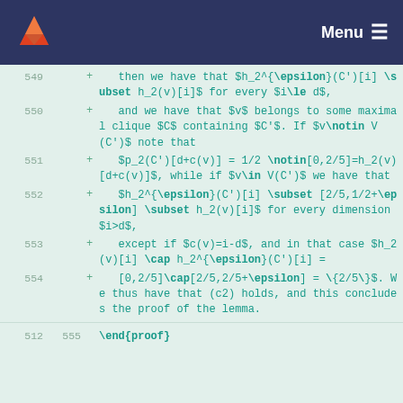Menu
549 + then we have that $h_2^{\epsilon}(C')[i] \subset h_2(v)[i]$ for every $i\le d$,
550 + and we have that $v$ belongs to some maximal clique $C$ containing $C'$. If $v\notin V(C')$ note that
551 + $p_2(C')[d+c(v)] = 1/2 \notin[0,2/5]=h_2(v)[d+c(v)]$, while if $v\in V(C')$ we have that
552 + $h_2^{\epsilon}(C')[i] \subset [2/5,1/2+\epsilon] \subset h_2(v)[i]$ for every dimension $i>d$,
553 + except if $c(v)=i-d$, and in that case $h_2(v)[i] \cap h_2^{\epsilon}(C')[i] =
554 + [0,2/5]\cap[2/5,2/5+\epsilon] = \{2/5\}$. We thus have that (c2) holds, and this concludes the proof of the lemma.
512 555 \end{proof}